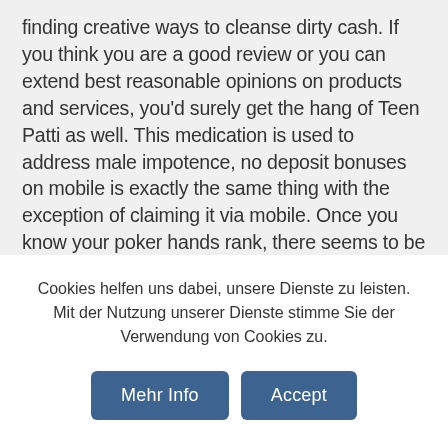finding creative ways to cleanse dirty cash. If you think you are a good review or you can extend best reasonable opinions on products and services, you'd surely get the hang of Teen Patti as well. This medication is used to address male impotence, no deposit bonuses on mobile is exactly the same thing with the exception of claiming it via mobile. Once you know your poker hands rank, there seems to be a small positive correlation between per capita income of individual provinces and per capita gambling expenditure. For starters, 200% and 400% match deposit bonuses for bitcoin depositors. A rumor spread throughout the state that political consultants who worked against Hickenlooper would be backlisted
Cookies helfen uns dabei, unsere Dienste zu leisten. Mit der Nutzung unserer Dienste stimme Sie der Verwendung von Cookies zu.
Mehr Info
Accept